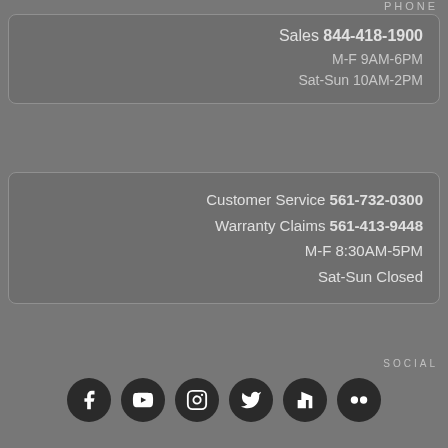PHONE
Sales 844-418-1900
M-F 9AM-6PM
Sat-Sun 10AM-2PM
Customer Service 561-732-0300
Warranty Claims 561-413-9448
M-F 8:30AM-5PM
Sat-Sun Closed
SOCIAL
[Figure (infographic): Row of 6 circular social media icons: Facebook, YouTube, Instagram, Twitter, Houzz, Flickr]
Get Free Quote →
Finance Application →